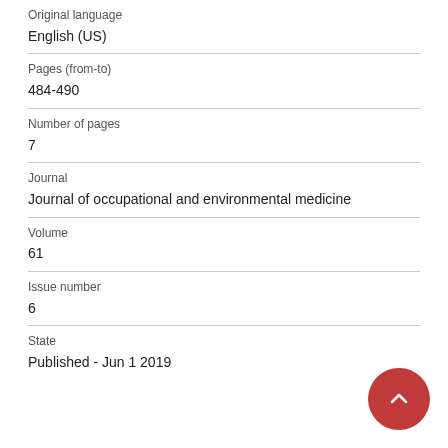Original language
English (US)
Pages (from-to)
484-490
Number of pages
7
Journal
Journal of occupational and environmental medicine
Volume
61
Issue number
6
State
Published - Jun 1 2019